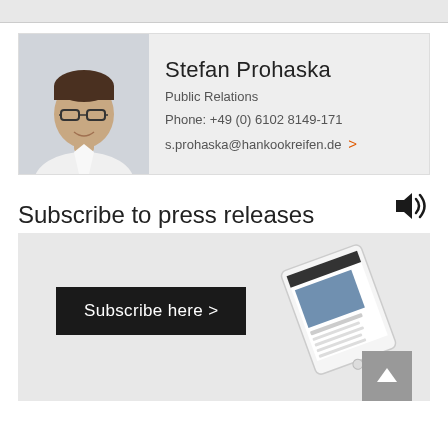[Figure (photo): Partial cropped photo strip at top of page]
[Figure (photo): Contact card for Stefan Prohaska with headshot photo, name, title (Public Relations), phone, and email]
Stefan Prohaska
Public Relations
Phone: +49 (0) 6102 8149-171
s.prohaska@hankookreifen.de >
Subscribe to press releases
[Figure (screenshot): Subscribe banner with black 'Subscribe here >' button and a tilted tablet/device image showing a press release page]
[Figure (other): Grey back-to-top button with upward arrow icon]